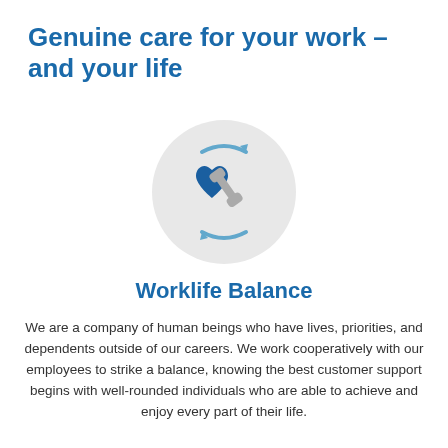Genuine care for your work – and your life
[Figure (illustration): Circular grey icon containing a dark blue heart and a grey wrench with light blue curved arrows around them, symbolizing work-life balance.]
Worklife Balance
We are a company of human beings who have lives, priorities, and dependents outside of our careers. We work cooperatively with our employees to strike a balance, knowing the best customer support begins with well-rounded individuals who are able to achieve and enjoy every part of their life.